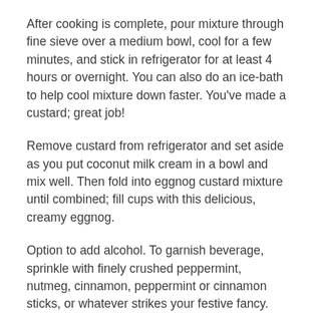After cooking is complete, pour mixture through fine sieve over a medium bowl, cool for a few minutes, and stick in refrigerator for at least 4 hours or overnight. You can also do an ice-bath to help cool mixture down faster. You've made a custard; great job!
Remove custard from refrigerator and set aside as you put coconut milk cream in a bowl and mix well. Then fold into eggnog custard mixture until combined; fill cups with this delicious, creamy eggnog.
Option to add alcohol. To garnish beverage, sprinkle with finely crushed peppermint, nutmeg, cinnamon, peppermint or cinnamon sticks, or whatever strikes your festive fancy.